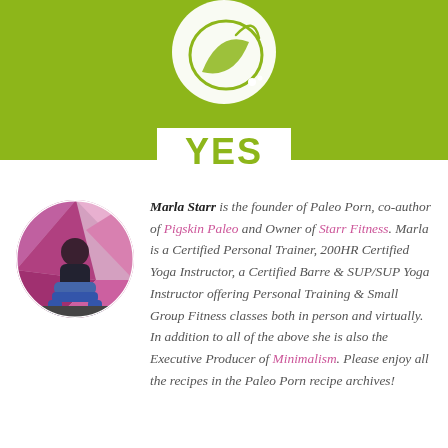[Figure (logo): White circular logo with leaf/food design on olive green background]
YES
[Figure (photo): Circular photo of Marla Starr sitting on a box in a gym with colorful geometric wall]
Marla Starr is the founder of Paleo Porn, co-author of Pigskin Paleo and Owner of Starr Fitness. Marla is a Certified Personal Trainer, 200HR Certified Yoga Instructor, a Certified Barre & SUP/SUP Yoga Instructor offering Personal Training & Small Group Fitness classes both in person and virtually. In addition to all of the above she is also the Executive Producer of Minimalism. Please enjoy all the recipes in the Paleo Porn recipe archives!